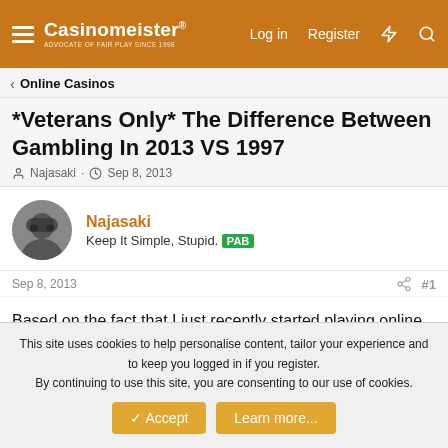Casinomeister® — ADVOCATE OF FAIR PLAY SINCE 1998 | Log in | Register
Online Casinos
*Veterans Only* The Difference Between Gambling In 2013 VS 1997
Najasaki · Sep 8, 2013
Najasaki
Keep It Simple, Stupid. PAB
Sep 8, 2013  #1
Based on the fact that I just recently started playing online only about a few
years ago, I'm really intrigued to learn what the major
This site uses cookies to help personalise content, tailor your experience and to keep you logged in if you register.
By continuing to use this site, you are consenting to our use of cookies.
Accept  Learn more...